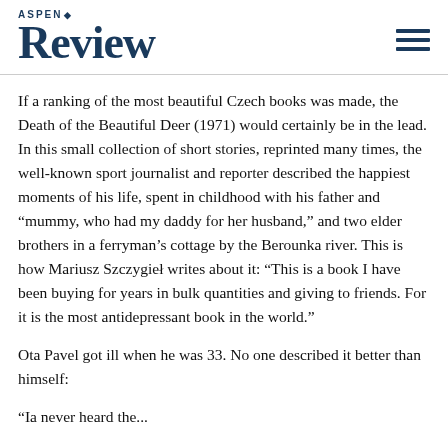ASPEN Review
If a ranking of the most beautiful Czech books was made, the Death of the Beautiful Deer (1971) would certainly be in the lead. In this small collection of short stories, reprinted many times, the well-known sport journalist and reporter described the happiest moments of his life, spent in childhood with his father and “mummy, who had my daddy for her husband,” and two elder brothers in a ferryman’s cottage by the Berounka river. This is how Mariusz Szczygieł writes about it: “This is a book I have been buying for years in bulk quantities and giving to friends. For it is the most antidepressant book in the world.”
Ota Pavel got ill when he was 33. No one described it better than himself:
“Ia never heard the...